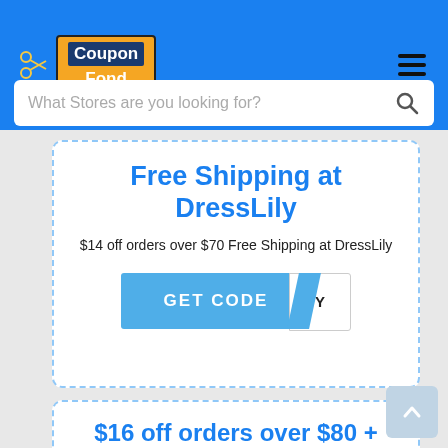CouponFond — navigation header with logo and hamburger menu
What Stores are you looking for?
Free Shipping at DressLily
$14 off orders over $70 Free Shipping at DressLily
[Figure (other): GET CODE button with partial coupon code reveal]
$16 off orders over $80 + Free Shipping at